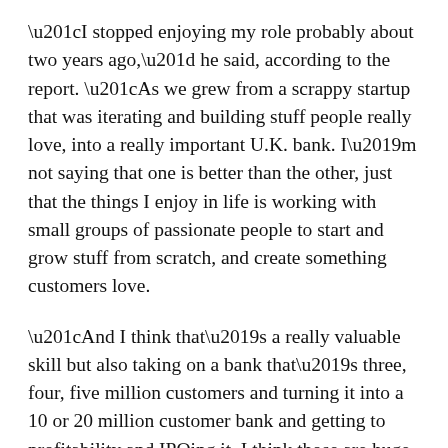“I stopped enjoying my role probably about two years ago,” he said, according to the report. “As we grew from a scrappy startup that was iterating and building stuff people really love, into a really important U.K. bank. I’m not saying that one is better than the other, just that the things I enjoy in life is working with small groups of passionate people to start and grow stuff from scratch, and create something customers love.
“And I think that’s a really valuable skill but also taking on a bank that’s three, four, five million customers and turning it into a 10 or 20 million customer bank and getting to profitability and IPOing it, I think those are huge exciting challenges, just honestly not ones that I found that I was interested in or particularly good at.”